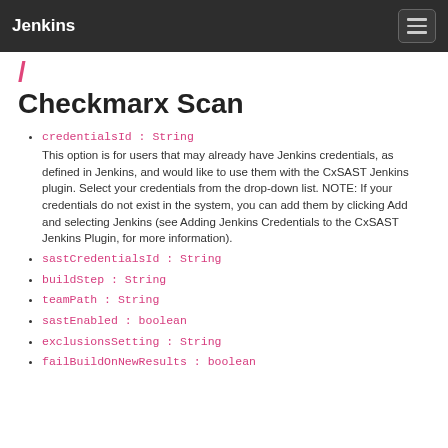Jenkins
/ Checkmarx Scan
credentialsId : String
This option is for users that may already have Jenkins credentials, as defined in Jenkins, and would like to use them with the CxSAST Jenkins plugin. Select your credentials from the drop-down list. NOTE: If your credentials do not exist in the system, you can add them by clicking Add and selecting Jenkins (see Adding Jenkins Credentials to the CxSAST Jenkins Plugin, for more information).
sastCredentialsId : String
buildStep : String
teamPath : String
sastEnabled : boolean
exclusionsSetting : String
failBuildOnNewResults : boolean